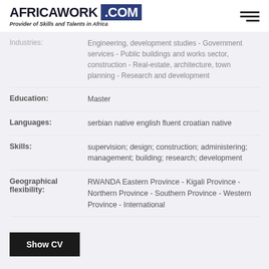AFRICAWORK .COM - Provider of Skills and Talents in Africa
Industries: Engineering, development studies - Government services - Public buildings and works sector, construction - Real-estate, architecture, town planning - Research and development
Education: Master
Languages: serbian native english fluent croatian native
Skills: supervision; design; construction; administering; management; building; research; development
Geographical flexibility: RWANDA Eastern Province - Kigali Province - Northern Province - Southern Province - Western Province - International
Show CV